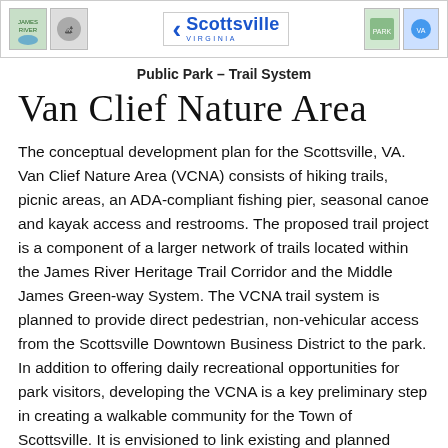[Figure (logo): Header bar with logos: James River logo on left, Scottsville Virginia logo in center, two small logos on right]
Public Park – Trail System
Van Clief Nature Area
The conceptual development plan for the Scottsville, VA. Van Clief Nature Area (VCNA) consists of hiking trails, picnic areas, an ADA-compliant fishing pier, seasonal canoe and kayak access and restrooms. The proposed trail project is a component of a larger network of trails located within the James River Heritage Trail Corridor and the Middle James Green-way System. The VCNA trail system is planned to provide direct pedestrian, non-vehicular access from the Scottsville Downtown Business District to the park. In addition to offering daily recreational opportunities for park visitors, developing the VCNA is a key preliminary step in creating a walkable community for the Town of Scottsville. It is envisioned to link existing and planned residential neighborhoods to the Downtown Historic District and the